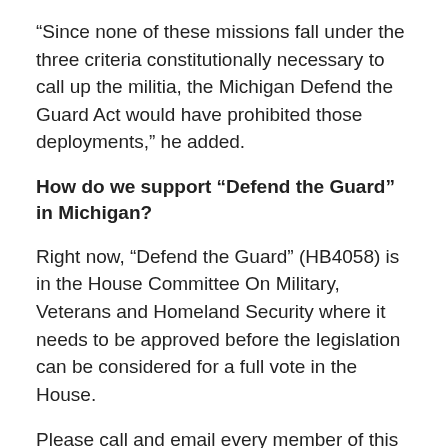“Since none of these missions fall under the three criteria constitutionally necessary to call up the militia, the Michigan Defend the Guard Act would have prohibited those deployments,” he added.
How do we support “Defend the Guard” in Michigan?
Right now, “Defend the Guard” (HB4058) is in the House Committee On Military, Veterans and Homeland Security where it needs to be approved before the legislation can be considered for a full vote in the House.
Please call and email every member of this committee. And urge others to do so. Let them know that they must uphold their constitutional duty to prevent Michigan’s heroes from being